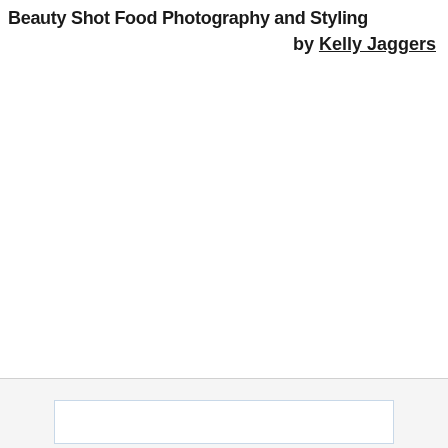Beauty Shot Food Photography and Styling by Kelly Jaggers